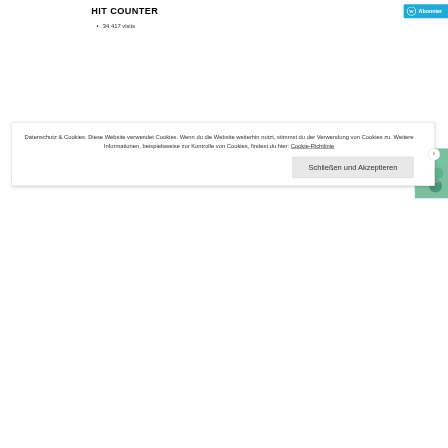HIT COUNTER
34.417 visits
ME ON FACEBOOK
FLICKR PHO
[Figure (photo): Partial thumbnail of a Flickr photo showing colorful nail art with blue and green tones]
Datenschutz & Cookies: Diese Website verwendet Cookies. Wenn du die Website weiterhin nutzt, stimmst du der Verwendung von Cookies zu. Weitere Informationen, beispielsweise zur Kontrolle von Cookies, findest du hier: Cookie-Richtlinie
Schließen und Akzeptieren